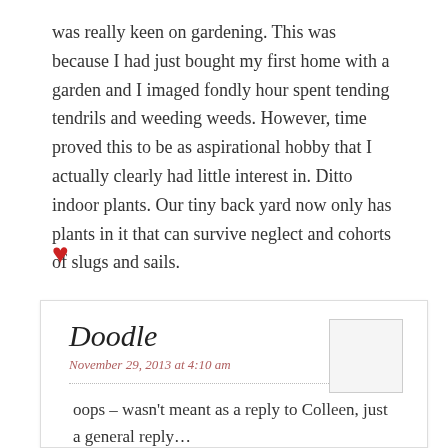was really keen on gardening. This was because I had just bought my first home with a garden and I imaged fondly hour spent tending tendrils and weeding weeds. However, time proved this to be as aspirational hobby that I actually clearly had little interest in. Ditto indoor plants. Our tiny back yard now only has plants in it that can survive neglect and cohorts of slugs and sails.
[Figure (other): Red heart icon / like button]
Doodle
November 29, 2013 at 4:10 am
oops – wasn't meant as a reply to Colleen, just a general reply…